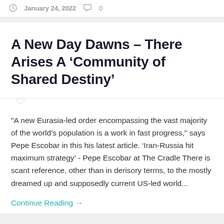January 24, 2022  0
A New Day Dawns – There Arises A ‘Community of Shared Destiny’
"A new Eurasia-led order encompassing the vast majority of the world’s population is a work in fast progress," says Pepe Escobar in this his latest article. ‘Iran-Russia hit maximum strategy’ - Pepe Escobar at The Cradle There is scant reference, other than in derisory terms, to the mostly dreamed up and supposedly current US-led world...
Continue Reading →